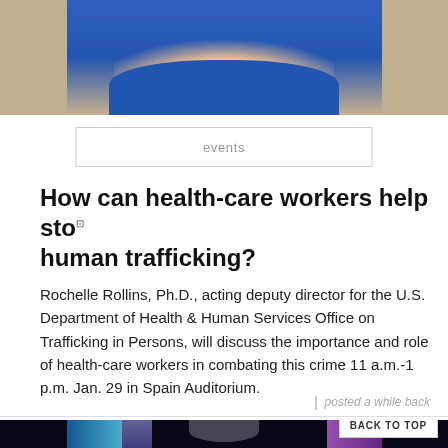[Figure (photo): Partial photo of a person in a blue outfit, cropped at the top of the page]
events
How can health-care workers help stop human trafficking?
Rochelle Rollins, Ph.D., acting deputy director for the U.S. Department of Health & Human Services Office on Trafficking in Persons, will discuss the importance and role of health-care workers in combating this crime 11 a.m.-1 p.m. Jan. 29 in Spain Auditorium.
posted a while back
[Figure (photo): Photo of a musical performance on a decorated stage with colorful lighting and musicians playing instruments]